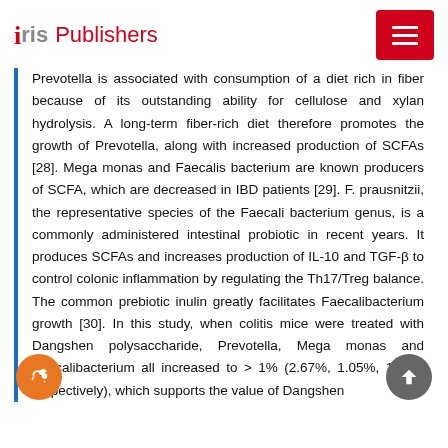Iris Publishers
Prevotella is associated with consumption of a diet rich in fiber because of its outstanding ability for cellulose and xylan hydrolysis. A long-term fiber-rich diet therefore promotes the growth of Prevotella, along with increased production of SCFAs [28]. Mega monas and Faecalis bacterium are known producers of SCFA, which are decreased in IBD patients [29]. F. prausnitzii, the representative species of the Faecali bacterium genus, is a commonly administered intestinal probiotic in recent years. It produces SCFAs and increases production of IL-10 and TGF-β to control colonic inflammation by regulating the Th17/Treg balance. The common prebiotic inulin greatly facilitates Faecalibacterium growth [30]. In this study, when colitis mice were treated with Dangshen polysaccharide, Prevotella, Mega monas and Faecalibacterium all increased to > 1% (2.67%, 1.05%, 1.38% respectively), which supports the value of Dangshen